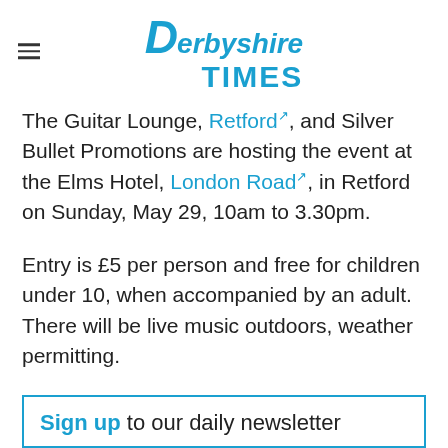Derbyshire Times
The Guitar Lounge, Retford, and Silver Bullet Promotions are hosting the event at the Elms Hotel, London Road, in Retford on Sunday, May 29, 10am to 3.30pm.
Entry is £5 per person and free for children under 10, when accompanied by an adult. There will be live music outdoors, weather permitting.
Sign up to our daily newsletter